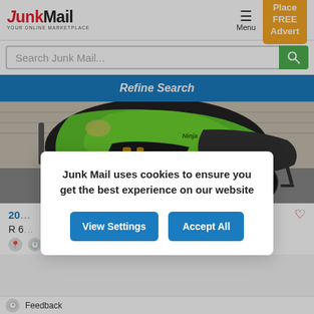JunkMail - YOUR ONLINE MARKETPLACE | Menu | Place FREE Advert
Search Junk Mail...
Refine Search
[Figure (photo): Green Kawasaki Ninja motorcycle front-right view parked against a brick wall]
20[...] listing title
R 6[...]
Junk Mail uses cookies to ensure you get the best experience on our website
View Settings
Accept All
Feedback